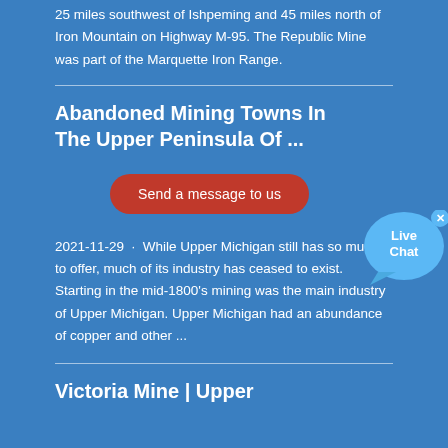25 miles southwest of Ishpeming and 45 miles north of Iron Mountain on Highway M-95. The Republic Mine was part of the Marquette Iron Range.
Abandoned Mining Towns In The Upper Peninsula Of ...
[Figure (other): Live Chat widget button with teal speech bubble and close X button]
Send a message to us
2021-11-29 · While Upper Michigan still has so much to offer, much of its industry has ceased to exist. Starting in the mid-1800's mining was the main industry of Upper Michigan. Upper Michigan had an abundance of copper and other ...
Victoria Mine | Upper